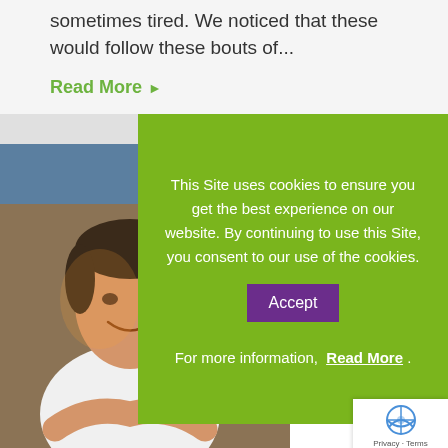sometimes tired. We noticed that these would follow these bouts of...
Read More ▶
[Figure (photo): Photo of a smiling woman in a white t-shirt, outdoors with a blue tiled roof in background]
This Site uses cookies to ensure you get the best experience on our website. By continuing to use this Site, you consent to our use of the cookies. Accept For more information, Read More .
Afsoon will be volunteering her time to assist with several projects including writing blogs for our website.